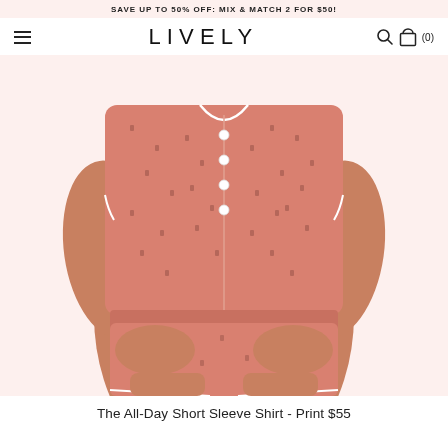SAVE UP TO 50% OFF: MIX & MATCH 2 FOR $50!
LIVELY
[Figure (photo): Woman wearing a pink/salmon patterned short sleeve button-up shirt and matching shorts (pajama set), hands in pockets, cropped to show torso and legs only. Background is off-white/cream.]
The All-Day Short Sleeve Shirt - Print $55